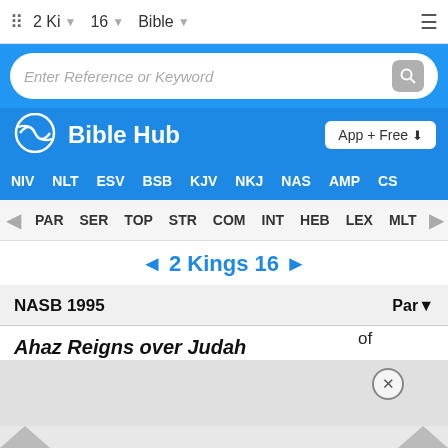2 Ki  16  Bible
Enter Reference or Keyword
Bible Hub
NIV  NLT  ESV  BSB  KJV  NKJ  NAS  AMP  CS
PAR  SER  TOP  STR  COM  INT  HEB  LEX  MLT
◄ 2 Kings 16 ►
NASB 1995   Par▼
Ahaz Reigns over Judah
1 In the seventeenth year of Pekah the son of Remaliah, [...]ah, beca[...]n he